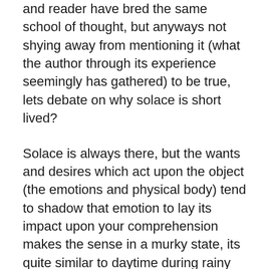and reader have bred the same school of thought, but anyways not shying away from mentioning it (what the author through its experience seemingly has gathered) to be true, lets debate on why solace is short lived?
Solace is always there, but the wants and desires which act upon the object (the emotions and physical body) tend to shadow that emotion to lay its impact upon your comprehension makes the sense in a murky state, its quite similar to daytime during rainy season, when sun is there in all of its glory but the clouds have shadowed its glory but couldn't completely block its light,